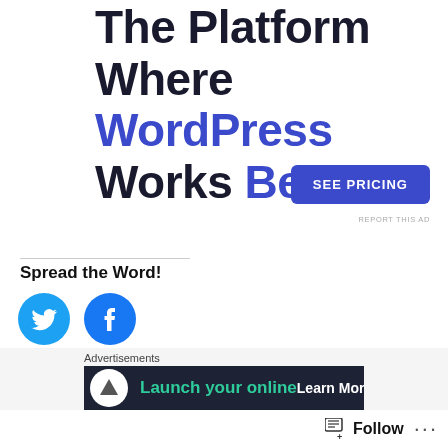The Platform Where WordPress Works Best
[Figure (other): SEE PRICING button — dark blue rounded rectangle with white uppercase text]
REPORT THIS AD
Spread the Word!
[Figure (other): Twitter bird icon — cyan circle with white Twitter bird silhouette]
[Figure (other): Facebook icon — blue circle with white Facebook 'f' logo]
Loading...
Advertisements
[Figure (other): Advertisement banner: dark navy background, circular logo icon, teal text 'Launch your online', white text 'Learn More']
[Figure (other): Close button — circle with X]
Follow